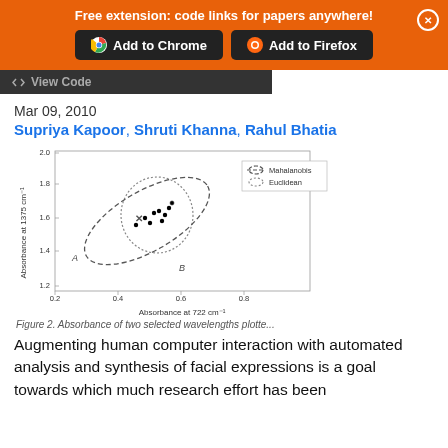Free extension: code links for papers anywhere!
[Figure (screenshot): Browser extension banner with Add to Chrome and Add to Firefox buttons]
[Figure (screenshot): View Code button (partially visible)]
Mar 09, 2010
Supriya Kapoor, Shruti Khanna, Rahul Bhatia
[Figure (scatter-plot): Scatter plot showing Mahalanobis (dashed ellipse) and Euclidean (dotted circle) distance boundaries with data points, labeled A and B, and a centroid marked X]
Figure 2. Absorbance of two selected wavelengths plotte...
Augmenting human computer interaction with automated analysis and synthesis of facial expressions is a goal towards which much research effort has been